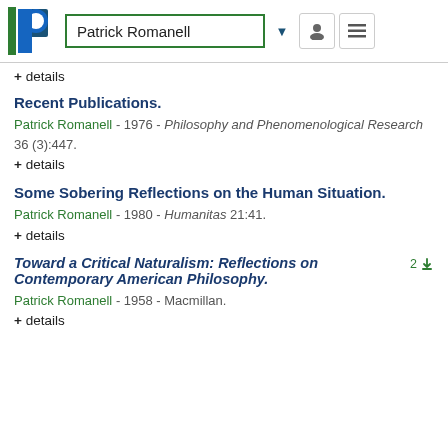Patrick Romanell
+ details
Recent Publications.
Patrick Romanell - 1976 - Philosophy and Phenomenological Research 36 (3):447.
+ details
Some Sobering Reflections on the Human Situation.
Patrick Romanell - 1980 - Humanitas 21:41.
+ details
Toward a Critical Naturalism: Reflections on Contemporary American Philosophy.
Patrick Romanell - 1958 - Macmillan.
+ details